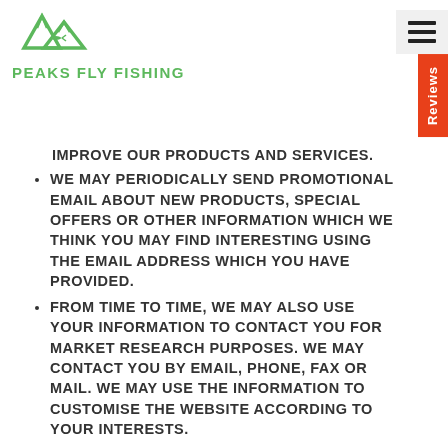[Figure (logo): Peaks Fly Fishing logo with green mountain peaks icon and green text PEAKS FLY FISHING]
IMPROVE OUR PRODUCTS AND SERVICES.
WE MAY PERIODICALLY SEND PROMOTIONAL EMAIL ABOUT NEW PRODUCTS, SPECIAL OFFERS OR OTHER INFORMATION WHICH WE THINK YOU MAY FIND INTERESTING USING THE EMAIL ADDRESS WHICH YOU HAVE PROVIDED.
FROM TIME TO TIME, WE MAY ALSO USE YOUR INFORMATION TO CONTACT YOU FOR MARKET RESEARCH PURPOSES. WE MAY CONTACT YOU BY EMAIL, PHONE, FAX OR MAIL. WE MAY USE THE INFORMATION TO CUSTOMISE THE WEBSITE ACCORDING TO YOUR INTERESTS.